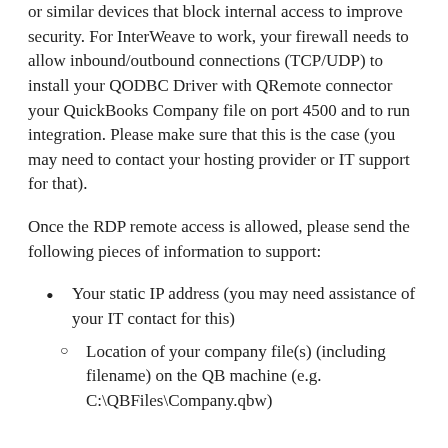or similar devices that block internal access to improve security. For InterWeave to work, your firewall needs to allow inbound/outbound connections (TCP/UDP) to install your QODBC Driver with QRemote connector your QuickBooks Company file on port 4500 and to run integration. Please make sure that this is the case (you may need to contact your hosting provider or IT support for that).
Once the RDP remote access is allowed, please send the following pieces of information to support:
Your static IP address (you may need assistance of your IT contact for this)
Location of your company file(s) (including filename) on the QB machine (e.g. C:\QBFiles\Company.qbw)